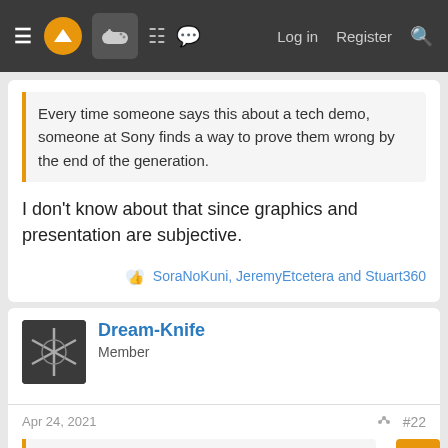Navigation bar with menu, logo, gamepad icon, grid icon, chat icon, Log in, Register, Search
Every time someone says this about a tech demo, someone at Sony finds a way to prove them wrong by the end of the generation.
I don't know about that since graphics and presentation are subjective.
SoraNoKuni, JeremyEtcetera and Stuart360
Dream-Knife
Member
Apr 24, 2021
#22
KyoShiRo330 said:
Literally below the video: "I've been studying Unreal in my spare time since the beginning of this year. This is my first personal project with it. The environment